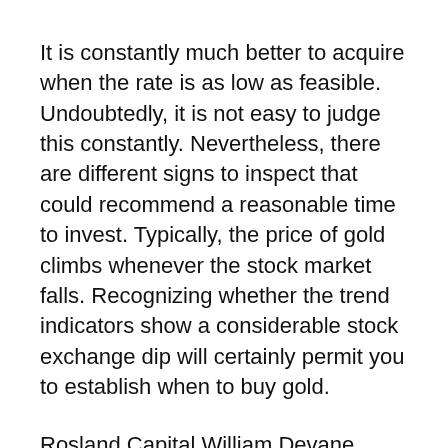It is constantly much better to acquire when the rate is as low as feasible. Undoubtedly, it is not easy to judge this constantly. Nevertheless, there are different signs to inspect that could recommend a reasonable time to invest. Typically, the price of gold climbs whenever the stock market falls. Recognizing whether the trend indicators show a considerable stock exchange dip will certainly permit you to establish when to buy gold.
Rosland Capital William Devane
It's a smart move to educate on your own about stock market futures, since these can indicate when the rate of gold will move. If